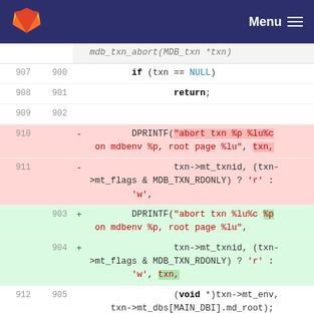GitLab Menu
[Figure (screenshot): Git diff view of mdb_txn_abort function showing removed and added DPRINTF lines. Lines 907-909 / 900-902 show context with if(txn==NULL) return; Lines 910-911 removed (red): DPRINTF("abort txn %p %lu%c on mdbenv %p, root page %lu", txn, txn->mt_txnid, (txn->mt_flags & MDB_TXN_RDONLY) ? 'r' : 'w'. Lines 903-904 added (green): DPRINTF("abort txn %lu%c %p on mdbenv %p, root page %lu", txn->mt_txnid, (txn->mt_flags & MDB_TXN_RDONLY) ? 'r' : 'w', txn. Lines 912-914/905-907 context: (void *)txn->mt_env, txn->mt_dbs[MAIN_DBI].md_root); mdb_txn_reset0(txn); Hunk: @@ -952,27 +945,23 @@ mdb_txn_commit(MDB_txn *txn)]